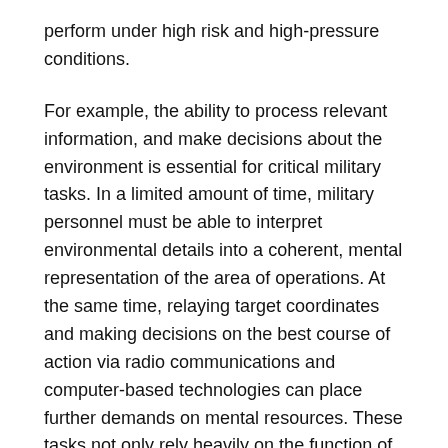perform under high risk and high-pressure conditions.
For example, the ability to process relevant information, and make decisions about the environment is essential for critical military tasks. In a limited amount of time, military personnel must be able to interpret environmental details into a coherent, mental representation of the area of operations. At the same time, relaying target coordinates and making decisions on the best course of action via radio communications and computer-based technologies can place further demands on mental resources. These tasks not only rely heavily on the function of, but efficiency and stamina of, attention and working memory, inhibition, situational awareness, and cognitive flexibility.
Subcomponents of Cognitive Performance